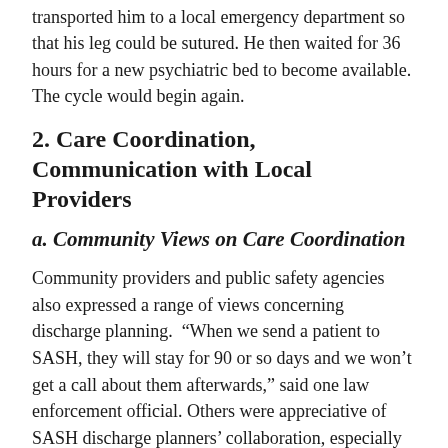transported him to a local emergency department so that his leg could be sutured. He then waited for 36 hours for a new psychiatric bed to become available. The cycle would begin again.
2. Care Coordination, Communication with Local Providers
a. Community Views on Care Coordination
Community providers and public safety agencies also expressed a range of views concerning discharge planning. “When we send a patient to SASH, they will stay for 90 or so days and we won’t get a call about them afterwards,” said one law enforcement official. Others were appreciative of SASH discharge planners’ collaboration, especially LMHAs whose staff make regular visits to maintain contact with patients they have